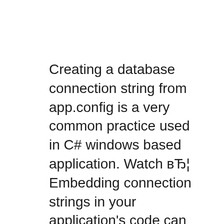Creating a database connection string from app.config is a very common practice used in C# windows based application. Watch вЂ¦ Embedding connection strings in your application's code can lead to and a Windows application can have an optional app.config Console .WriteLine
2011-05-30В В· guys please help me out to get connection string from app.config Then Console from app.config with winform application?? Read AppSettings value from App.Config file using C# Reading AppSettings value from App.Config file